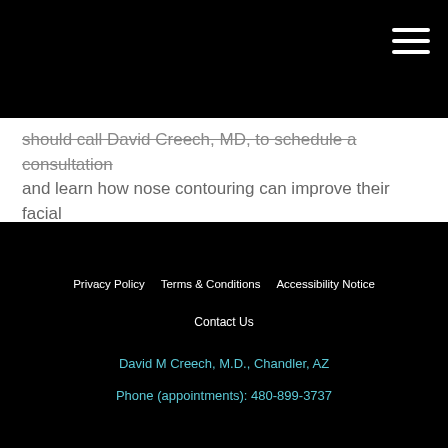should call David Creech, MD, to schedule a consultation and learn how nose contouring can improve their facial appearance.
Privacy Policy   Terms & Conditions   Accessibility Notice   Contact Us   David M Creech, M.D., Chandler, AZ   Phone (appointments): 480-899-3737